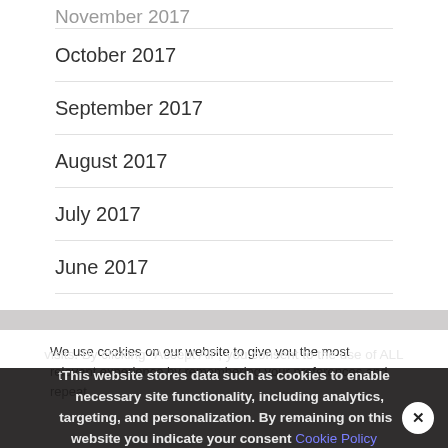October 2017
September 2017
August 2017
July 2017
June 2017
March 2017
We use cookies on our website to give you the most relevant experience by remembering your preferences and repeat visits. By clicking "Accept All", you consent to the use of ALL t... provide a controlled consent.
This website stores data such as cookies to enable necessary site functionality, including analytics, targeting, and personalization. By remaining on this website you indicate your consent Cookie Policy